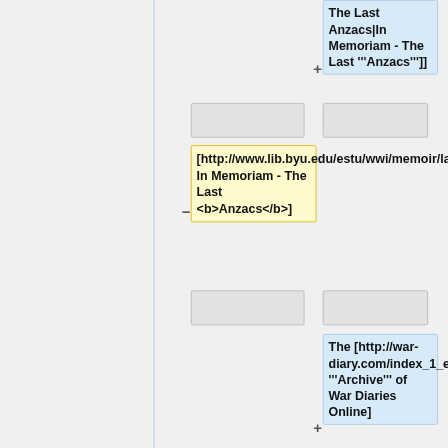[Figure (flowchart): A diff/comparison flowchart showing wiki markup nodes. Top-right blue node shows 'The Last Anzacs|In Memoriam - The Last \'\''Anzacs\'\'']]'. Two empty gray boxes in a middle row. A yellow highlighted center node shows '[http://www.lib.byu.edu/estu/wwi/memoir/lastanzc.htm In Memoriam - The Last <b>Anzacs</b>]' with a minus connector. Two more empty gray boxes below. Bottom-right blue node shows 'The [http://war-diary.com/index_1_en.htm \'\''Archive\'\'' of War Diaries Online]' with a plus connector.]